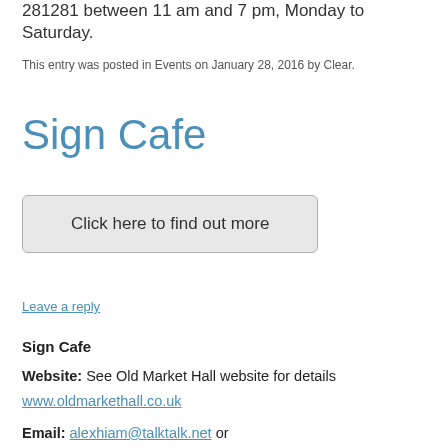281281 between 11 am and 7 pm, Monday to Saturday.
This entry was posted in Events on January 28, 2016 by Clear.
Sign Cafe
Click here to find out more
Leave a reply
Sign Cafe
Website: See Old Market Hall website for details
www.oldmarkethall.co.uk
Email: alexhiam@talktalk.net or